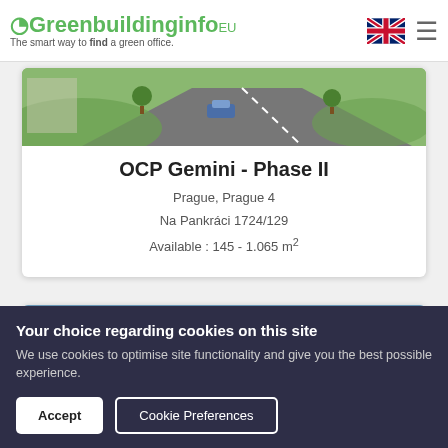Greenbuildinginfo.eu — The smart way to find a green office.
[Figure (screenshot): Aerial/satellite-style rendering of a green building site with roads and cars, image at top of listing card]
OCP Gemini - Phase II
Prague, Prague 4
Na Pankráci 1724/129
Available : 145 - 1.065 m²
[Figure (photo): Aerial panoramic photo of a city skyline, shown in second listing card. Three icon circles overlaid: scales/compare, heart/favourite, clock/recent.]
Your choice regarding cookies on this site
We use cookies to optimise site functionality and give you the best possible experience.
Accept
Cookie Preferences